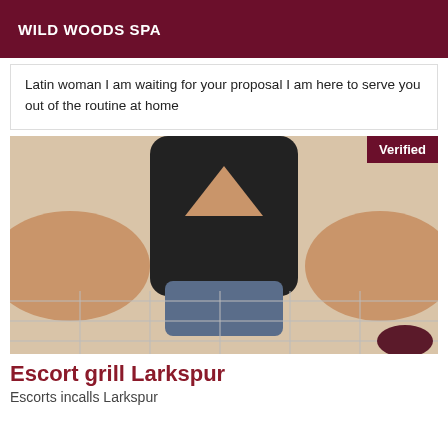WILD WOODS SPA
Latin woman I am waiting for your proposal I am here to serve you out of the routine at home
[Figure (photo): Person in bathroom taking a selfie from above, wearing black top and jeans, white tile floor visible. 'Verified' badge in top right corner.]
Escort grill Larkspur
Escorts incalls Larkspur